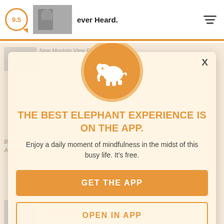[Figure (screenshot): Top navigation bar with score badge (9.5), thumbnail photo, article snippet text 'ever Heard.' and hamburger menu icon]
[Figure (infographic): App promotion modal overlay on blurred website background. Contains orange elephant logo circle, bold orange title text, subtitle text, and two CTA buttons.]
THE BEST ELEPHANT EXPERIENCE IS ON THE APP.
Enjoy a daily moment of mindfulness in the midst of this busy life. It's free.
GET THE APP
OPEN IN APP